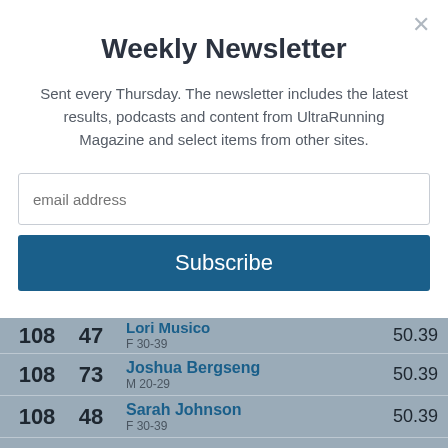Weekly Newsletter
Sent every Thursday. The newsletter includes the latest results, podcasts and content from UltraRunning Magazine and select items from other sites.
| Rank | Bib | Name/Category | Time |
| --- | --- | --- | --- |
| 108 | 47 | Lori Musico
F 30-39 | 50.39 |
| 108 | 73 | Joshua Bergseng
M 20-29 | 50.39 |
| 108 | 48 | Sarah Johnson
F 30-39 | 50.39 |